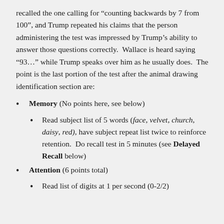recalled the one calling for “counting backwards by 7 from 100”, and Trump repeated his claims that the person administering the test was impressed by Trump’s ability to answer those questions correctly.  Wallace is heard saying “93…” while Trump speaks over him as he usually does.  The point is the last portion of the test after the animal drawing identification section are:
Memory (No points here, see below)
Read subject list of 5 words (face, velvet, church, daisy, red), have subject repeat list twice to reinforce retention.  Do recall test in 5 minutes (see Delayed Recall below)
Attention (6 points total)
Read list of digits at 1 per second (0-2/2)